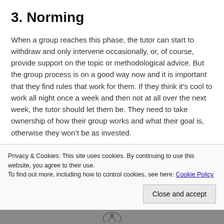3. Norming
When a group reaches this phase, the tutor can start to withdraw and only intervene occasionally, or, of course, provide support on the topic or methodological advice. But the group process is on a good way now and it is important that they find rules that work for them. If they think it’s cool to work all night once a week and then not at all over the next week, the tutor should let them be. They need to take ownership of how their group works and what their goal is, otherwise they won’t be as invested.
Privacy & Cookies: This site uses cookies. By continuing to use this website, you agree to their use.
To find out more, including how to control cookies, see here: Cookie Policy
Close and accept
[Figure (photo): Partial image visible at bottom of page showing a logo or symbol]